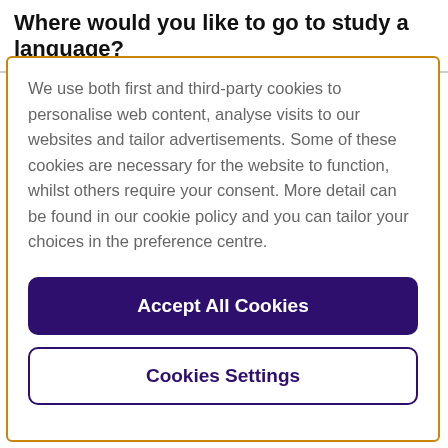Where would you like to go to study a language?
We use both first and third-party cookies to personalise web content, analyse visits to our websites and tailor advertisements. Some of these cookies are necessary for the website to function, whilst others require your consent. More detail can be found in our cookie policy and you can tailor your choices in the preference centre.
Accept All Cookies
Cookies Settings